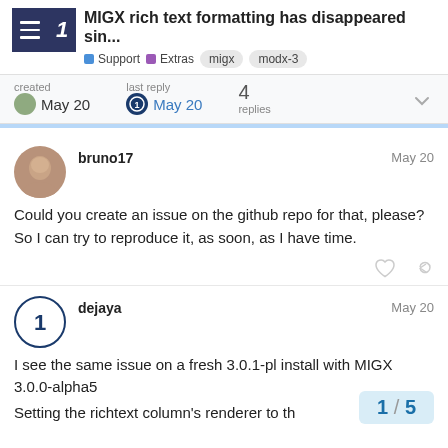MIGX rich text formatting has disappeared sin...
Support  Extras  migx  modx-3
created  May 20   last reply  May 20   4 replies
bruno17   May 20
Could you create an issue on the github repo for that, please? So I can try to reproduce it, as soon, as I have time.
dejaya   May 20
I see the same issue on a fresh 3.0.1-pl install with MIGX 3.0.0-alpha5

Setting the richtext column's renderer to th
1 / 5